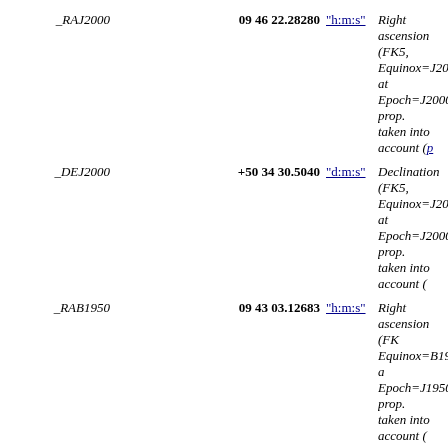_RAJ2000   09 46 22.28280 "h:m:s"   Right ascension (FK5, Equinox=J2000.0) at Epoch=J2000, prop. mot. taken into account (pos.eq.ra)
_DEJ2000   +50 34 30.5040 "d:m:s"   Declination (FK5, Equinox=J2000.0) at Epoch=J2000, prop. mot. taken into account (pos.eq.dec)
_RAB1950   09 43 03.12683 "h:m:s"   Right ascension (FK4, Equinox=B1950.0) at Epoch=J1950, prop. mot. taken into account (pos.eq.ra)
_DEB1950   +50 48 22.7605 "d:m:s"   Declination (FK4, Equinox=B1950.0) at Epoch=J1950, prop. mot. taken into account (pos.eq.dec)
_Glon   166.21174486 deg   Galactic longitude (computed by VizieR, not part of the original data. The format may include more digits than the original data because of internal accuracy requirements in VizieR and other CDS services) (pos.galactic.lon)